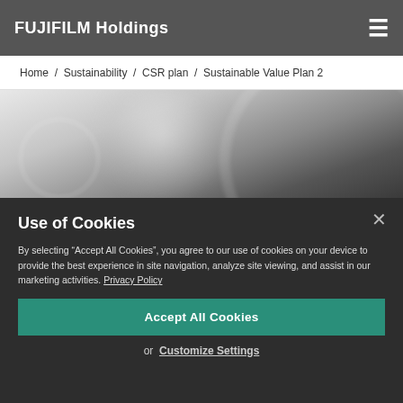FUJIFILM Holdings
Home / Sustainability / CSR plan / Sustainable Value Plan 2
[Figure (photo): Blurred background photo of a compass or navigational instrument in dark tones]
Use of Cookies
By selecting “Accept All Cookies”, you agree to our use of cookies on your device to provide the best experience in site navigation, analyze site viewing, and assist in our marketing activities. Privacy Policy
Accept All Cookies
or  Customize Settings